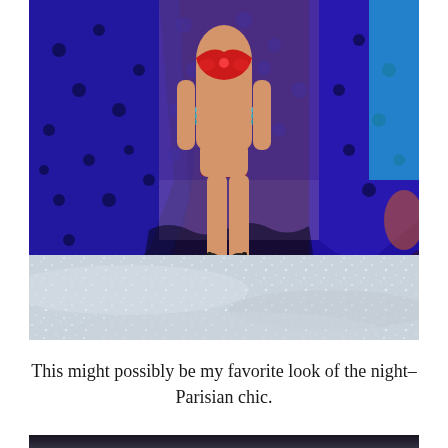[Figure (photo): A model walking a glittery fashion show runway wearing a red bejeweled bra and red underwear with ornate black gemstone gladiator heels. She is flanked by models wearing large dark blue polka-dot capes. The background shows a sparkly silver catwalk floor and stage backdrop.]
This might possibly be my favorite look of the night–
Parisian chic.
[Figure (photo): Bottom portion of another fashion show photo, partially visible at bottom of page.]